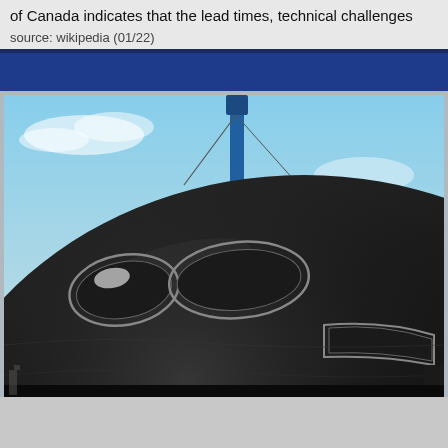of Canada indicates that the lead times, technical challenges
source: wikipedia (01/22)
[Figure (photo): Close-up photograph of a dark (black) submarine hull with hatches/windows visible, shot against a blue sky background with a mast or periscope visible at the top.]